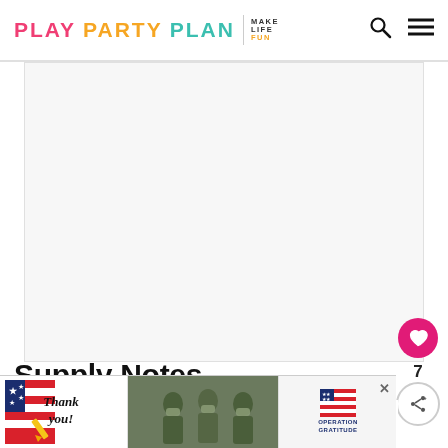PLAY PARTY PLAN | MAKE LIFE FUN
[Figure (photo): Large blank/white image placeholder area in the article body]
Supply Notes
Cricut Machine – this project will work with
[Figure (infographic): Advertisement banner: 'Thank you!' Operation Gratitude ad with military photo]